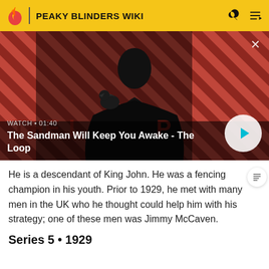PEAKY BLINDERS WIKI
[Figure (screenshot): Video thumbnail for 'The Sandman Will Keep You Awake - The Loop' with striped red and black background, dark figure with a raven, WATCH • 01:40 label, and play button]
He is a descendant of King John. He was a fencing champion in his youth. Prior to 1929, he met with many men in the UK who he thought could help him with his strategy; one of these men was Jimmy McCaven.
Series 5 • 1929